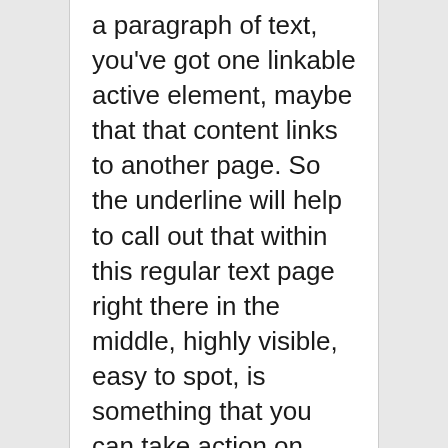a paragraph of text, you've got one linkable active element, maybe that that content links to another page. So the underline will help to call out that within this regular text page right there in the middle, highly visible, easy to spot, is something that you can take action on. That's the usability part of a link in text.
My first question is